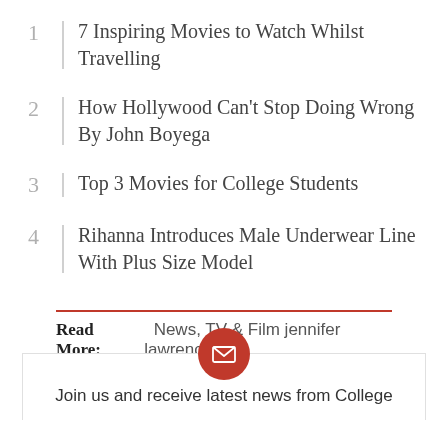1 | 7 Inspiring Movies to Watch Whilst Travelling
2 | How Hollywood Can't Stop Doing Wrong By John Boyega
3 | Top 3 Movies for College Students
4 | Rihanna Introduces Male Underwear Line With Plus Size Model
Read More: News, TV & Film jennifer lawrence
Join us and receive latest news from College